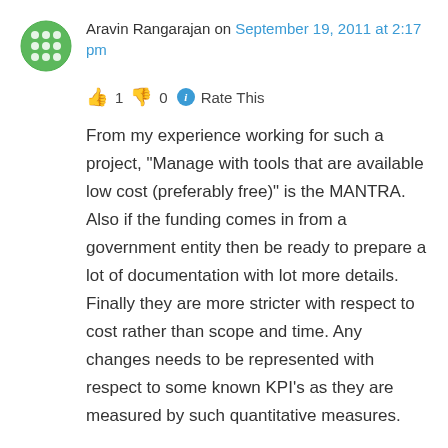Aravin Rangarajan on September 19, 2011 at 2:17 pm
👍 1 👎 0 ℹ Rate This
From my experience working for such a project, "Manage with tools that are available low cost (preferably free)" is the MANTRA. Also if the funding comes in from a government entity then be ready to prepare a lot of documentation with lot more details. Finally they are more stricter with respect to cost rather than scope and time. Any changes needs to be represented with respect to some known KPI's as they are measured by such quantitative measures.
Bruce, Once again an excellent article.